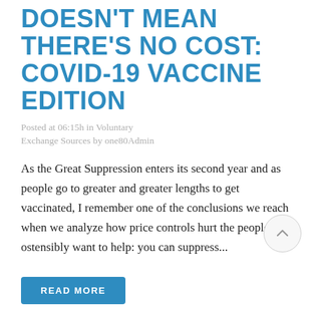DOESN'T MEAN THERE'S NO COST: COVID-19 VACCINE EDITION
Posted at 06:15h in Voluntary Exchange Sources by one80Admin
As the Great Suppression enters its second year and as people go to greater and greater lengths to get vaccinated, I remember one of the conclusions we reach when we analyze how price controls hurt the people we ostensibly want to help: you can suppress...
READ MORE